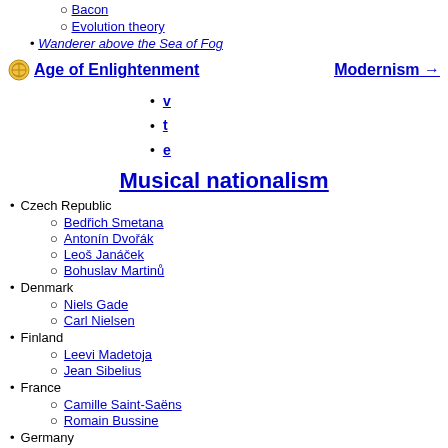Bacon
Evolution theory
Wanderer above the Sea of Fog
Age of Enlightenment / Modernism →
v
t
e
Musical nationalism
Czech Republic
Bedřich Smetana
Antonín Dvořák
Leoš Janáček
Bohuslav Martinů
Denmark
Niels Gade
Carl Nielsen
Finland
Leevi Madetoja
Jean Sibelius
France
Camille Saint-Saëns
Romain Bussine
Germany